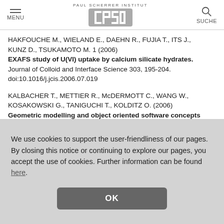PAUL SCHERRER INSTITUT | PSI | MENU | SUCHE
HAKFOUCHE M., WIELAND E., DAEHN R., FUJIA T., ITS J., KUNZ D., TSUKAMOTO M. 1 (2006)
EXAFS study of U(VI) uptake by calcium silicate hydrates.
Journal of Colloid and Interface Science 303, 195-204. doi:10.1016/j.jcis.2006.07.019
KALBACHER T., METTIER R., McDERMOTT C., WANG W., KOSAKOWSKI G., TANIGUCHI T., KOLDITZ O. (2006)
Geometric modelling and object oriented software concepts
We use cookies to support the user-friendliness of our pages. By closing this notice or continuing to explore our pages, you accept the use of cookies. Further information can be found here.